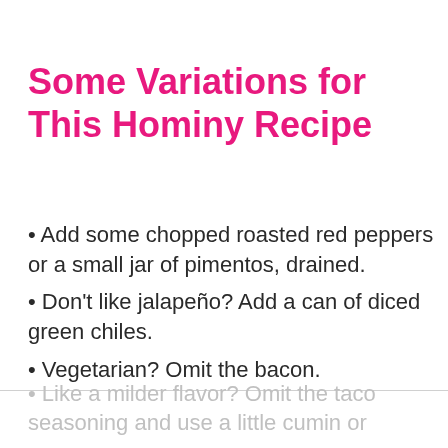Some Variations for This Hominy Recipe
Add some chopped roasted red peppers or a small jar of pimentos, drained.
Don't like jalapeño? Add a can of diced green chiles.
Vegetarian? Omit the bacon.
Like a milder flavor? Omit the taco seasoning and use a little cumin or…